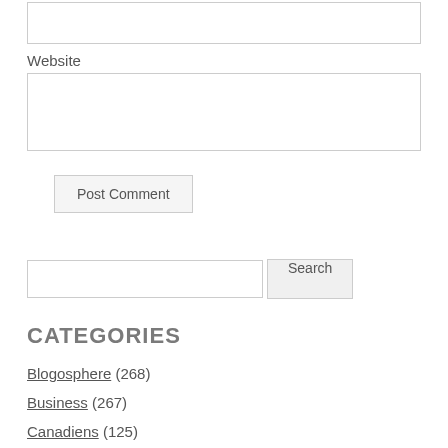Website
Post Comment
Search
CATEGORIES
Blogosphere (268)
Business (267)
Canadiens (125)
Fun (114)
Humour (135)